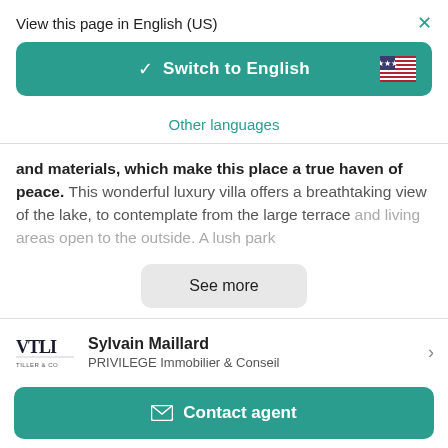View this page in English (US)
[Figure (screenshot): Teal 'Switch to English' button with checkmark and US flag icon]
Other languages
and materials, which make this place a true haven of peace. This wonderful luxury villa offers a breathtaking view of the lake, to contemplate from the large terrace and living areas open to the outside. A lush park
See more
Sylvain Maillard
PRIVILEGE Immobilier & Conseil
Contact agent